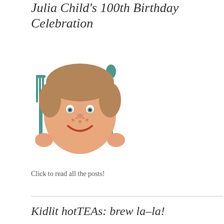Julia Child's 100th Birthday Celebration
[Figure (illustration): Cartoon illustration of a smiling child's face with freckles and blue eyes, holding a fork in the left hand and a spoon in the right hand, with peach/orange skin tones and brown curly hair.]
Click to read all the posts!
Kidlit hotTEAs: brew la-la!
[Figure (photo): Photo of a chimpanzee holding and drinking from a silver/metallic teapot or kettle, with a colorful background.]